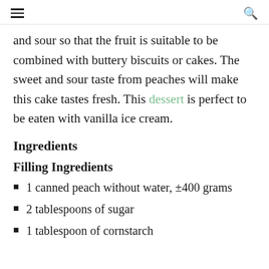≡  🔍
and sour so that the fruit is suitable to be combined with buttery biscuits or cakes. The sweet and sour taste from peaches will make this cake tastes fresh. This dessert is perfect to be eaten with vanilla ice cream.
Ingredients
Filling Ingredients
1 canned peach without water, ±400 grams
2 tablespoons of sugar
1 tablespoon of cornstarch